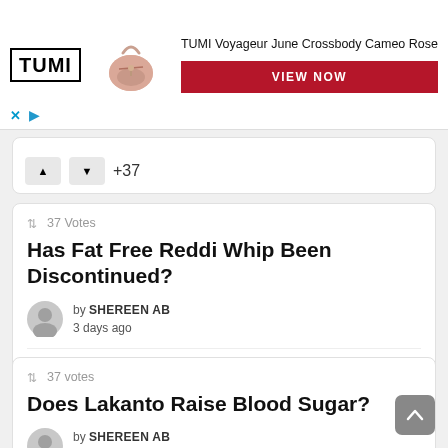[Figure (other): TUMI advertisement banner showing TUMI logo, pink crossbody bag, product name 'TUMI Voyageur June Crossbody Cameo Rose' and a red 'VIEW NOW' button]
+37
37 Votes
Has Fat Free Reddi Whip Been Discontinued?
by SHEREEN AB
3 days ago
+37
37 Votes
Does Lakanto Raise Blood Sugar?
by SHEREEN AB
3 days ago